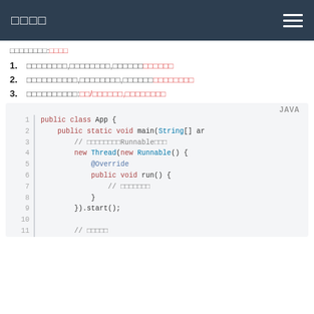□□□□
□□□□□□□□:□□□□
1. □□□□□□□□,□□□□□□□□,□□□□□□□□□□□□
2. □□□□□□□□□□,□□□□□□□□,□□□□□□□□□□□□□□
3. □□□□□□□□□□:□□/□□□□□□,□□□□□□□□
[Figure (screenshot): Java code block showing a class App with main method creating a new Thread with anonymous Runnable implementation, lines 1-11 visible]